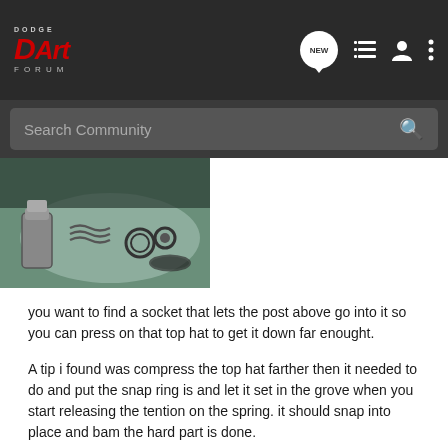Dodge Dart Forum
[Figure (photo): Photo of brake caliper parts including a piston, snap ring, and seals laid out on a white cloth]
you want to find a socket that lets the post above go into it so you can press on that top hat to get it down far enought.
A tip i found was compress the top hat farther then it needed to do and put the snap ring is and let it set in the grove when you start releasing the tention on the spring. it should snap into place and bam the hard part is done.
take your square cut seal and rub down with brake fluid and replace into grove. also lube the inside piston bore as well. also